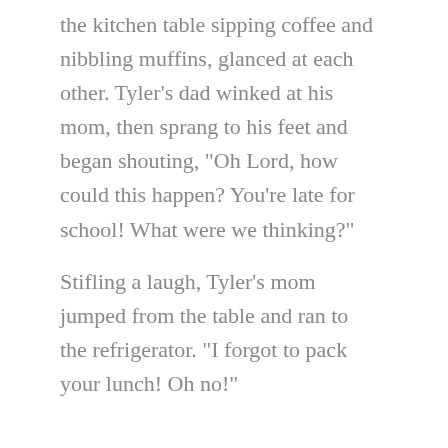the kitchen table sipping coffee and nibbling muffins, glanced at each other. Tyler's dad winked at his mom, then sprang to his feet and began shouting, "Oh Lord, how could this happen? You're late for school! What were we thinking?"
Stifling a laugh, Tyler's mom jumped from the table and ran to the refrigerator. "I forgot to pack your lunch! Oh no!"